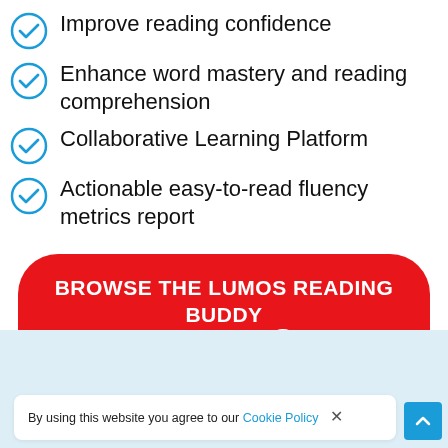Improve reading confidence
Enhance word mastery and reading comprehension
Collaborative Learning Platform
Actionable easy-to-read fluency metrics report
BROWSE THE LUMOS READING BUDDY CATALOG →
By using this website you agree to our Cookie Policy ×